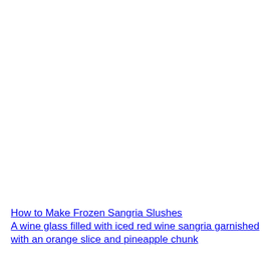How to Make Frozen Sangria Slushes
A wine glass filled with iced red wine sangria garnished with an orange slice and pineapple chunk